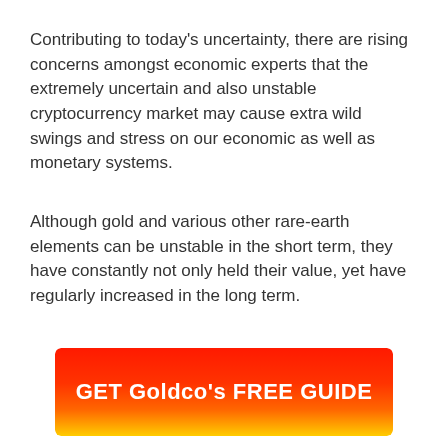Contributing to today's uncertainty, there are rising concerns amongst economic experts that the extremely uncertain and also unstable cryptocurrency market may cause extra wild swings and stress on our economic as well as monetary systems.
Although gold and various other rare-earth elements can be unstable in the short term, they have constantly not only held their value, yet have regularly increased in the long term.
[Figure (other): Red to yellow gradient button with white bold text reading 'GET Goldco's FREE GUIDE']